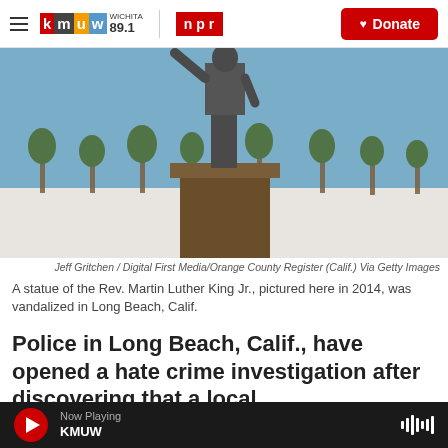KMUW Wichita 89.1 | NPR | Donate
[Figure (photo): A bronze statue of Rev. Martin Luther King Jr. with arm raised, standing on a pedestal, with palm trees and a blue sky in the background.]
Jeff Gritchen / Digital First Media/Orange County Register (Calif.) Via Getty Images
A statue of the Rev. Martin Luther King Jr., pictured here in 2014, was vandalized in Long Beach, Calif.
Police in Long Beach, Calif., have opened a hate crime investigation after discovering that a local
Now Playing KMUW